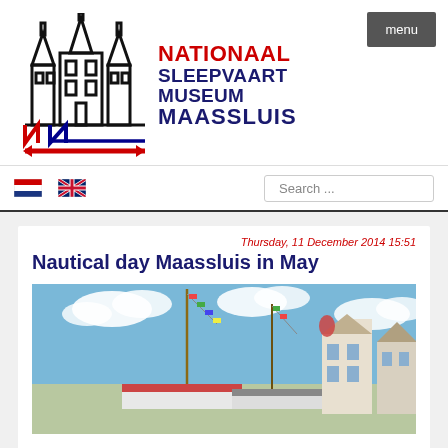[Figure (logo): Nationaal Sleepvaart Museum Maassluis logo with building silhouette and red/blue text]
menu
[Figure (illustration): Dutch flag (NL) and UK flag icons for language selection]
Search ...
Thursday, 11 December 2014 15:51
Nautical day Maassluis in May
[Figure (photo): Sailboats with colorful flags in a harbour with Dutch buildings in background under blue sky]